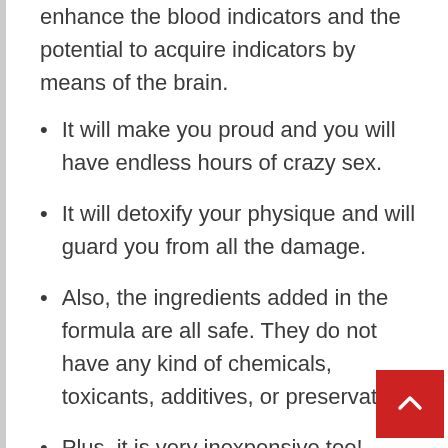enhance the blood indicators and the potential to acquire indicators by means of the brain.
It will make you proud and you will have endless hours of crazy sex.
It will detoxify your physique and will guard you from all the damage.
Also, the ingredients added in the formula are all safe. They do not have any kind of chemicals, toxicants, additives, or preservatives.
Plus, it is very inexpensive too!